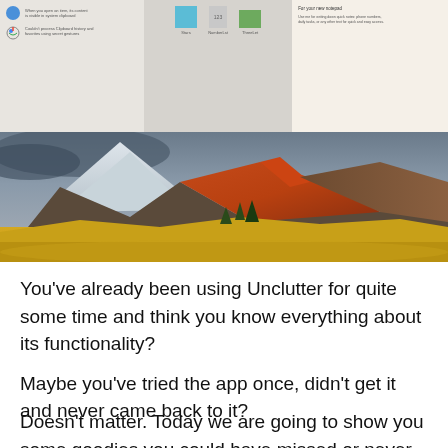[Figure (screenshot): Screenshot of Unclutter app interface showing three panels: left panel with a blue icon and browser history/bookmarks list on beige background, middle panel with file thumbnails (Stars, NumberList, ThreeLet) on gray background, right panel with a notepad/sticky note on cream background]
[Figure (photo): Landscape photograph of dramatic mountain scenery with snow-capped peaks, red/orange mineral-stained hillside, yellow autumn foliage in the foreground, and stormy sky]
You’ve already been using Unclutter for quite some time and think you know everything about its functionality?
Maybe you’ve tried the app once, didn’t get it and never came back to it?
Or you simply never used Unclutter before?
Doesn’t matter. Today we are going to show you some goodies you could have missed or never knew existed in Unclutter. Including a few